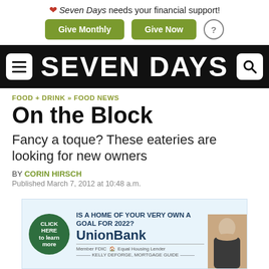❤ Seven Days needs your financial support! Give Monthly  Give Now  ?
[Figure (logo): Seven Days newspaper logo — white bold text on black nav bar with hamburger menu icon on left and search icon on right]
FOOD + DRINK » FOOD NEWS
On the Block
Fancy a toque? These eateries are looking for new owners
BY CORIN HIRSCH
Published March 7, 2012 at 10:48 a.m.
[Figure (photo): Union Bank advertisement: 'IS A HOME OF YOUR VERY OWN A GOAL FOR 2022?' with green circle 'CLICK HERE to learn more', Union Bank logo, Member FDIC Equal Housing Lender, Kelly DeForge Mortgage Guide, and photo of woman]